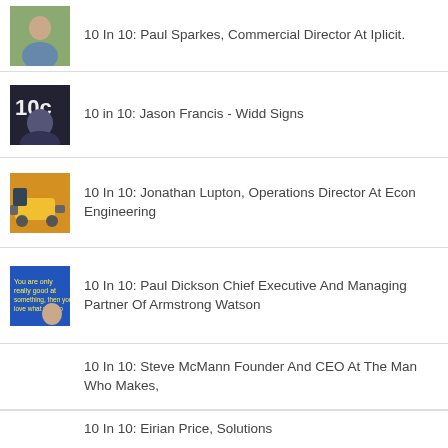10 In 10: Paul Sparkes, Commercial Director At Iplicit.
10 in 10: Jason Francis - Widd Signs
10 In 10: Jonathan Lupton, Operations Director At Econ Engineering
10 In 10: Paul Dickson Chief Executive And Managing Partner Of Armstrong Watson
10 In 10: Steve McMann Founder And CEO At The Man Who Makes,
10 In 10: Eirian Price, Solutions